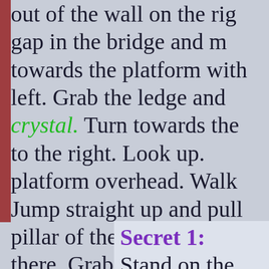out of the wall on the rig gap in the bridge and m towards the platform with left. Grab the ledge and crystal. Turn towards the to the right. Look up. platform overhead. Walk Jump straight up and pull pillar of the bridge. Take a there. Grab the ledge and
Secret 1:
Stand on the right en